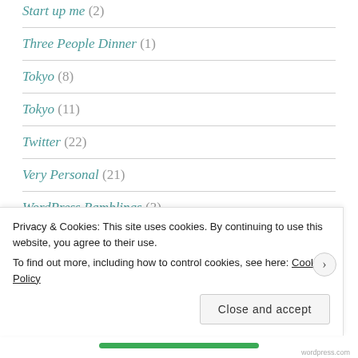Start up me (2)
Three People Dinner (1)
Tokyo (8)
Tokyo (11)
Twitter (22)
Very Personal (21)
WordPress Ramblings (3)
YES PLEASE and WANTs (27)
Privacy & Cookies: This site uses cookies. By continuing to use this website, you agree to their use. To find out more, including how to control cookies, see here: Cookie Policy
Close and accept